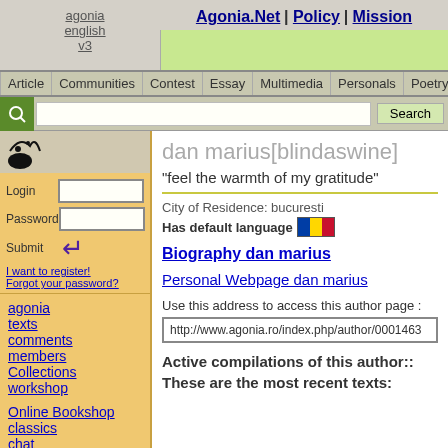Agonia.Net | Policy | Mission
agonia
english
v3
[Figure (screenshot): Green advertisement/banner area in top right]
Article | Communities | Contest | Essay | Multimedia | Personals | Poetry | Pre
[Figure (screenshot): Search bar with magnifying glass icon, text input, and Search button]
[Figure (screenshot): Decorative black ink splash image on left sidebar]
Login
Password
Submit
I want to register!
Forgot your password?
agonia
texts
comments
members
Collections
workshop
Online Bookshop
classics
chat
photo
Literary TopSites
links
dan marius[blindaswine]
"feel the warmth of my gratitude"
City of Residence: bucuresti
Has default language
Biography dan marius
Personal Webpage dan marius
Use this address to access this author page :
http://www.agonia.ro/index.php/author/0001463
Active compilations of this author::
These are the most recent texts: